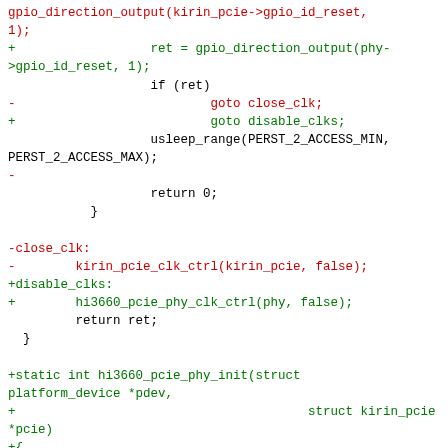Code diff showing gpio direction output, close_clk, disable_clks, and hi3660_pcie_phy_init function definitions in C source